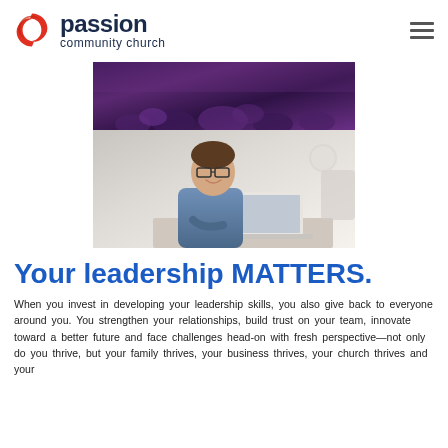[Figure (logo): Passion Community Church logo with red swirl icon and dark navy text]
[Figure (photo): Two stacked photos: top shows a purple-hued crowd scene, bottom shows a man with glasses smiling while working at a laptop]
Your leadership MATTERS.
When you invest in developing your leadership skills, you also give back to everyone around you. You strengthen your relationships, build trust on your team, innovate toward a better future and face challenges head-on with fresh perspective—not only do you thrive, but your family thrives, your business thrives, your church thrives and your